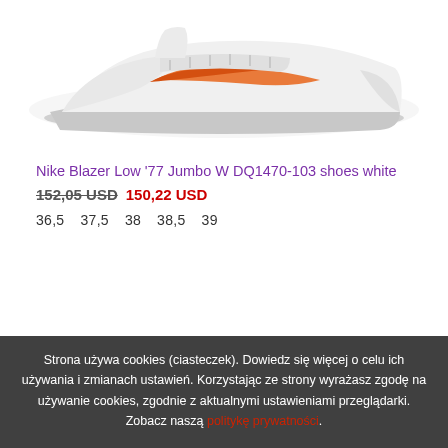[Figure (photo): Nike Blazer Low '77 Jumbo white shoe photographed from the side, showing the sole and white upper with orange Nike swoosh detail, on a white background]
Nike Blazer Low '77 Jumbo W DQ1470-103 shoes white
152,05 USD  150,22 USD
36,5  37,5  38  38,5  39
Strona używa cookies (ciasteczek). Dowiedz się więcej o celu ich używania i zmianach ustawień. Korzystając ze strony wyrażasz zgodę na używanie cookies, zgodnie z aktualnymi ustawieniami przeglądarki. Zobacz naszą politykę prywatności.